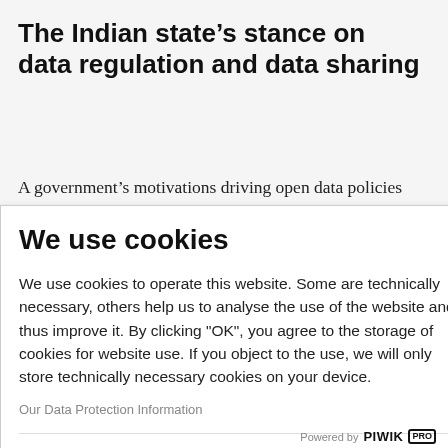The Indian state’s stance on data regulation and data sharing
A government’s motivations driving open data policies determine the quality of data available and
We use cookies
We use cookies to operate this website. Some are technically necessary, others help us to analyse the use of the website and thus improve it. By clicking "OK", you agree to the storage of cookies for website use. If you object to the use, we will only store technically necessary cookies on your device.
Our Data Protection Information
OK
No, thank you
Powered by PIWIK PRO